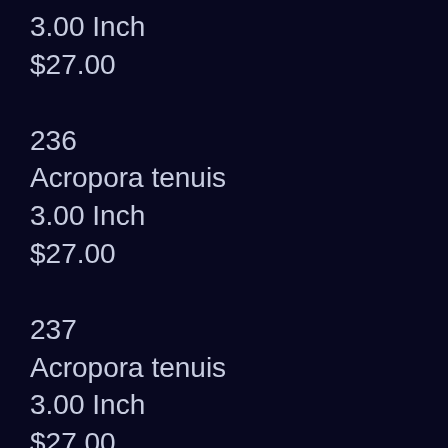3.00 Inch
$27.00
236
Acropora tenuis
3.00 Inch
$27.00
237
Acropora tenuis
3.00 Inch
$27.00